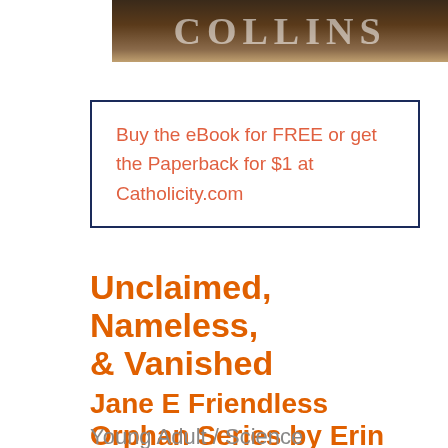[Figure (photo): Partial book cover image showing stylized text/author name, dark brown and tan tones, partially cropped at top]
Buy the eBook for FREE or get the Paperback for $1 at Catholicity.com
Unclaimed, Nameless, & Vanished
Jane E Friendless Orphan Series by Erin McCole Cupp
Young Adult / Science